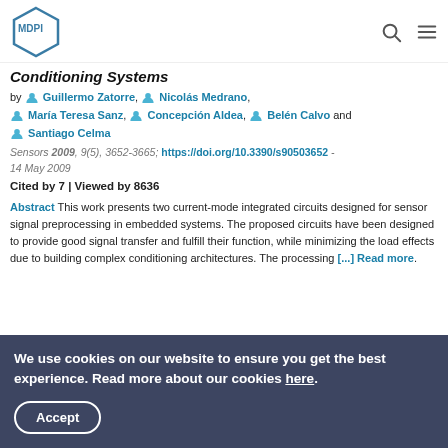MDPI [logo] [search icon] [menu icon]
Conditioning Systems
by Guillermo Zatorre, Nicolás Medrano, María Teresa Sanz, Concepción Aldea, Belén Calvo and Santiago Celma
Sensors 2009, 9(5), 3652-3665; https://doi.org/10.3390/s90503652 - 14 May 2009
Cited by 7 | Viewed by 8636
Abstract This work presents two current-mode integrated circuits designed for sensor signal preprocessing in embedded systems. The proposed circuits have been designed to provide good signal transfer and fulfill their function, while minimizing the load effects due to building complex conditioning architectures. The processing [...] Read more.
We use cookies on our website to ensure you get the best experience. Read more about our cookies here.
Accept